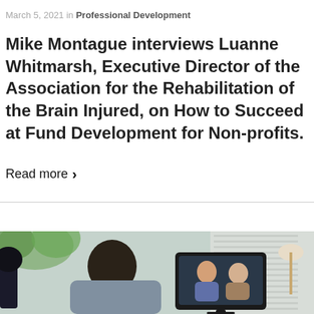March 5, 2021 in Professional Development
Mike Montague interviews Luanne Whitmarsh, Executive Director of the Association for the Rehabilitation of the Brain Injured, on How to Succeed at Fund Development for Non-profits.
Read more ›
[Figure (photo): A person seated at a desk with a camera/microphone setup conducting a video call, with two people visible on a monitor screen. Home office setting with plants and blinds in background.]